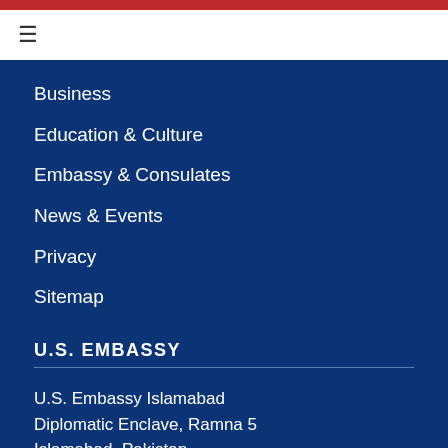Business
Education & Culture
Embassy & Consulates
News & Events
Privacy
Sitemap
U.S. EMBASSY
U.S. Embassy Islamabad
Diplomatic Enclave, Ramna 5
Islamabad, Pakistan
Phone: (+92) 051-201-4000
Fax: (+92) 51-2338071